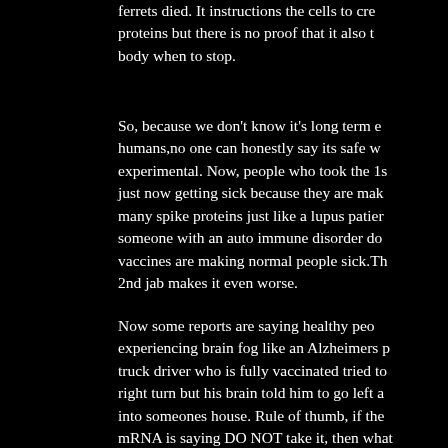ferrets died. It instructions the cells to create proteins but there is no proof that it also tells the body when to stop.
So, because we don't know it's long term effects on humans,no one can honestly say its safe when it's still experimental. Now, people who took the 1st shot are just now getting sick because they are making too many spike proteins just like a lupus patient or someone with an auto immune disorder does. These vaccines are making normal people sick.The 2nd jab makes it even worse.
Now some reports are saying healthy people are experiencing brain fog like an Alzheimers patient. A truck driver who is fully vaccinated tried to make a right turn but his brain told him to go left and he went into someones house. Rule of thumb, if the inventor of mRNA is saying DO NOT take it, then what does that tell you? The maker said don't do it. Dr. Ma